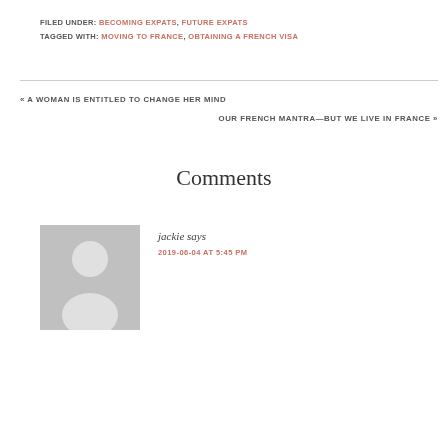FILED UNDER: BECOMING EXPATS, FUTURE EXPATS
TAGGED WITH: MOVING TO FRANCE, OBTAINING A FRENCH VISA
« A WOMAN IS ENTITLED TO CHANGE HER MIND
OUR FRENCH MANTRA—BUT WE LIVE IN FRANCE »
Comments
jackie says
2019-06-04 AT 5:45 PM